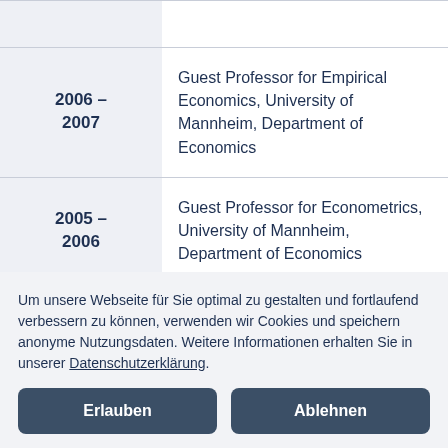| Year | Position |
| --- | --- |
| 2006 – 2007 | Guest Professor for Empirical Economics, University of Mannheim, Department of Economics |
| 2005 – 2006 | Guest Professor for Econometrics, University of Mannheim, Department of Economics |
| 2000 – 2006 | Research and Teaching Assistant, Humboldt-Universität zu Berlin, |
Um unsere Webseite für Sie optimal zu gestalten und fortlaufend verbessern zu können, verwenden wir Cookies und speichern anonyme Nutzungsdaten. Weitere Informationen erhalten Sie in unserer Datenschutzerklärung.